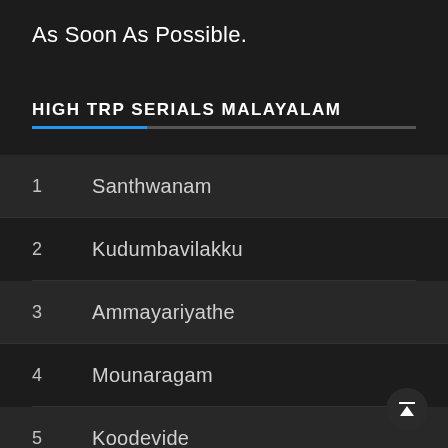As Soon As Possible.
HIGH TRP SERIALS MALAYALAM
1  Santhwanam
2  Kudumbavilakku
3  Ammayariyathe
4  Mounaragam
5  Koodevide